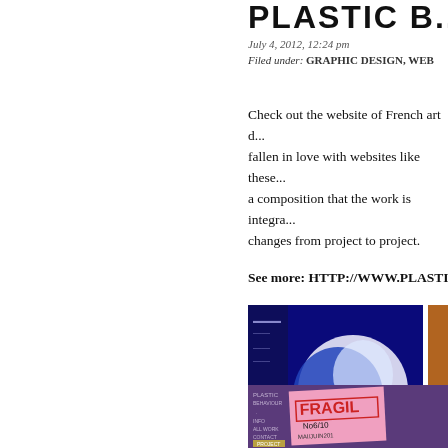PLASTIC D...
July 4, 2012, 12:24 pm
Filed under: GRAPHIC DESIGN, WEB
Check out the website of French art d... fallen in love with websites like these... a composition that the work is integra... changes from project to project.
See more: HTTP://WWW.PLASTICB...
[Figure (screenshot): Blue abstract 3D shape on dark blue background with text 'olos']
[Figure (screenshot): Orange abstract textured image, partially visible]
[Figure (screenshot): Purple website with pink card showing FRAGIL stamp design, nav menu on left, gold PROJECT button at bottom]